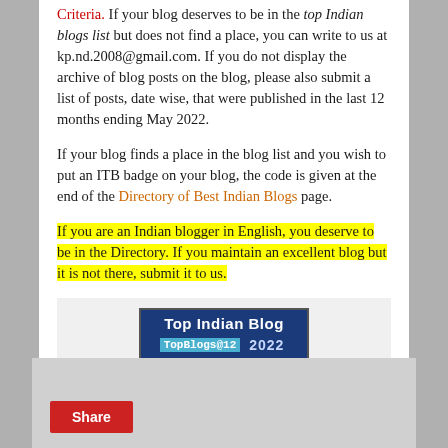Criteria. If your blog deserves to be in the top Indian blogs list but does not find a place, you can write to us at kp.nd.2008@gmail.com. If you do not display the archive of blog posts on the blog, please also submit a list of posts, date wise, that were published in the last 12 months ending May 2022.
If your blog finds a place in the blog list and you wish to put an ITB badge on your blog, the code is given at the end of the Directory of Best Indian Blogs page.
If you are an Indian blogger in English, you deserve to be in the Directory. If you maintain an excellent blog but it is not there, submit it to us.
[Figure (logo): Top Indian Blog badge with dark blue background. Top line: 'Top Indian Blog' in white bold text. Bottom: 'TopBlogs@12' in cyan/blue monospace and '2022' in light blue bold.]
Share